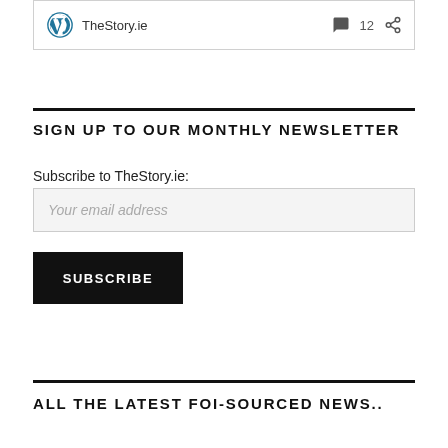[Figure (screenshot): WordPress logo and TheStory.ie site card with comment count 12 and share icon]
SIGN UP TO OUR MONTHLY NEWSLETTER
Subscribe to TheStory.ie:
Your email address
SUBSCRIBE
ALL THE LATEST FOI-SOURCED NEWS..